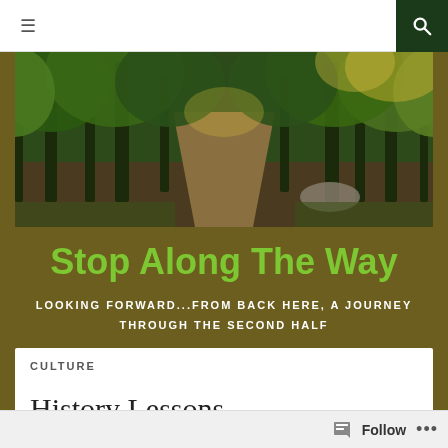≡  🔍
[Figure (photo): A forest path lined with tall trees with green and golden foliage, sunlight filtering through the canopy onto a dirt trail.]
Stop Along The Way
LOOKING FORWARD...FROM BACK HERE, A JOURNEY THROUGH THE SECOND HALF
CULTURE
History Lessons